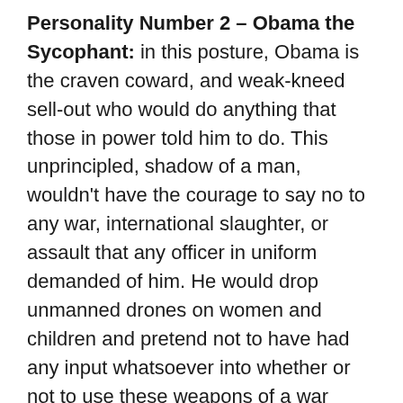Personality Number 2 – Obama the Sycophant: in this posture, Obama is the craven coward, and weak-kneed sell-out who would do anything that those in power told him to do. This unprincipled, shadow of a man, wouldn't have the courage to say no to any war, international slaughter, or assault that any officer in uniform demanded of him. He would drop unmanned drones on women and children and pretend not to have had any input whatsoever into whether or not to use these weapons of a war criminal. He would wage war on any defenseless nation the Pentagon ordered him to attack.
This shallow coward would never question the conduct of the Wall Street gangsters who have impoverished the American people, as well as those of other countries. And most importantly, he would turn the other